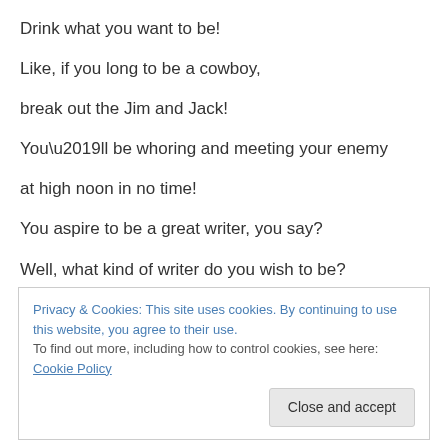Drink what you want to be!
Like, if you long to be a cowboy,
break out the Jim and Jack!
You’ll be whoring and meeting your enemy
at high noon in no time!
You aspire to be a great writer, you say?
Well, what kind of writer do you wish to be?
Privacy & Cookies: This site uses cookies. By continuing to use this website, you agree to their use.
To find out more, including how to control cookies, see here: Cookie Policy